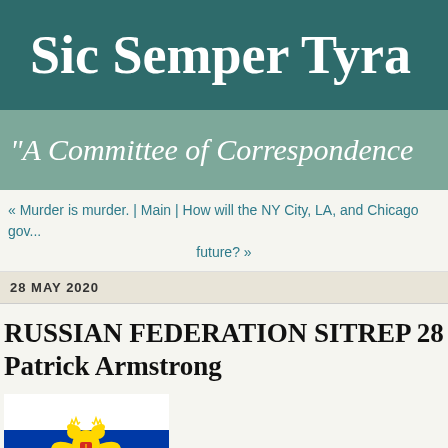Sic Semper Tyra...
"A Committee of Correspondence...
« Murder is murder. | Main | How will the NY City, LA, and Chicago gov... future? »
28 MAY 2020
RUSSIAN FEDERATION SITREP 28 MA...
Patrick Armstrong
[Figure (illustration): Russian Federation flag with double-headed eagle coat of arms]